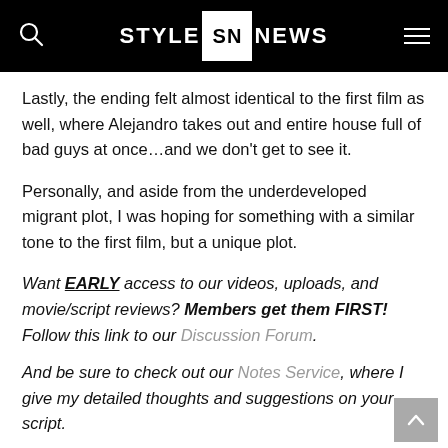STYLE SN NEWS
Lastly, the ending felt almost identical to the first film as well, where Alejandro takes out and entire house full of bad guys at once…and we don't get to see it.
Personally, and aside from the underdeveloped migrant plot, I was hoping for something with a similar tone to the first film, but a unique plot.
Want EARLY access to our videos, uploads, and movie/script reviews? Members get them FIRST! Follow this link to our Discussion Forum.
And be sure to check out our Notes Service, where I give my detailed thoughts and suggestions on your script.